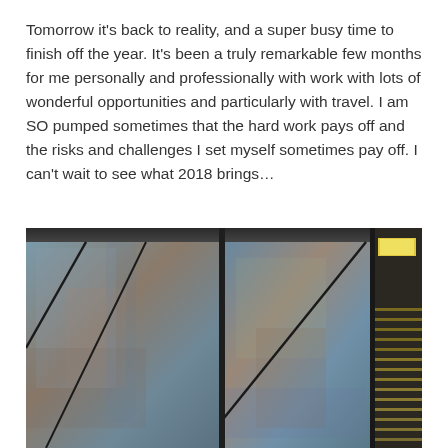Tomorrow it's back to reality, and a super busy time to finish off the year. It's been a truly remarkable few months for me personally and professionally with work with lots of wonderful opportunities and particularly with travel. I am SO pumped sometimes that the hard work pays off and the risks and challenges I set myself sometimes pay off. I can't wait to see what 2018 brings...
[Figure (photo): Close-up architectural photograph of large weathered metal or concrete panels with diagonal linear elements, showing aged blue-grey and rust-brown tones. On the right side, a glimpse of a yellow-lit interior space with horizontal louvers or blinds is visible.]